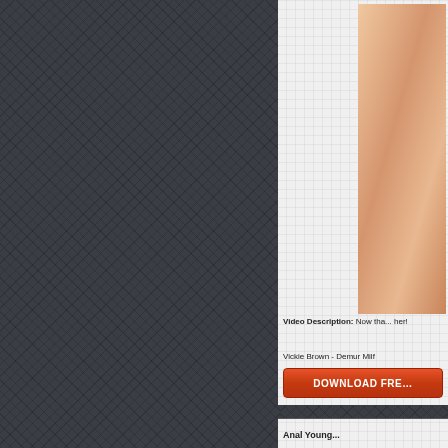[Figure (photo): Partial view of a person's body/skin, cropped at the right edge of the page, upper card area]
Video Description: Now tha... her!
Vickie Brown - Demur Milf
DOWNLOAD FRE...
Anal Young...